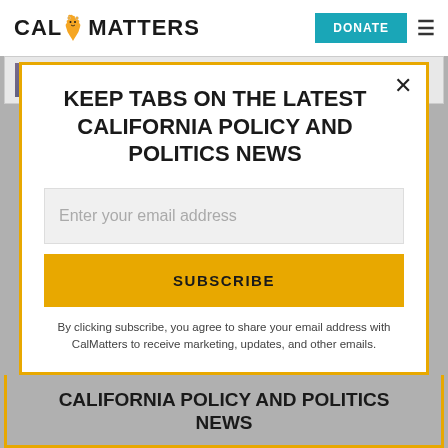CAL MATTERS | DONATE
State Senate, District 39 (San Diego)
KEEP TABS ON THE LATEST CALIFORNIA POLICY AND POLITICS NEWS
Enter your email address
SUBSCRIBE
By clicking subscribe, you agree to share your email address with CalMatters to receive marketing, updates, and other emails.
CALIFORNIA POLICY AND POLITICS NEWS